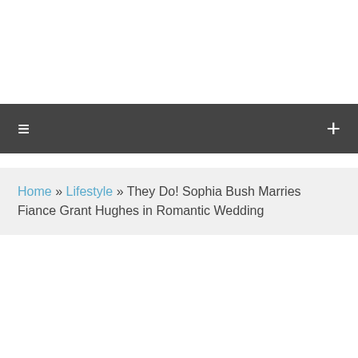≡  +
Home » Lifestyle » They Do! Sophia Bush Marries Fiance Grant Hughes in Romantic Wedding